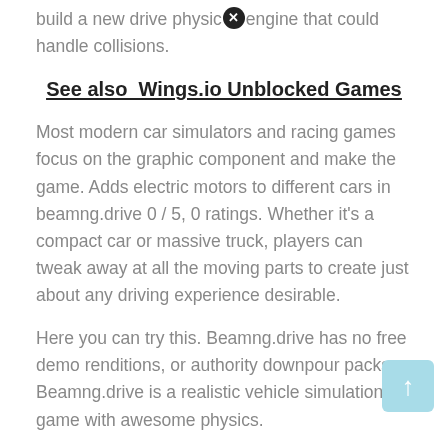build a new drive physics engine that could handle collisions.
See also  Wings.io Unblocked Games
Most modern car simulators and racing games focus on the graphic component and make the game. Adds electric motors to different cars in beamng.drive 0 / 5, 0 ratings. Whether it's a compact car or massive truck, players can tweak away at all the moving parts to create just about any driving experience desirable.
Here you can try this. Beamng.drive has no free demo renditions, or authority downpour packs. Beamng.drive is a realistic vehicle simulation game with awesome physics.
If a google drive link opens, in the top right